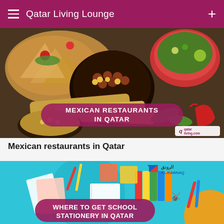Qatar Living Lounge
[Figure (photo): Mexican food spread showing nachos, burritos, bowls with beans and corn, with overlay text 'MEXICAN RESTAURANTS IN QATAR' and Qatar Living branding]
Mexican restaurants in Qatar
[Figure (photo): School stationery flatlay with colorful books, notebooks, pens, scissors, on teal background. Al-Rawnaq logo top right. Overlay text 'WHERE TO GET SCHOOL STATIONERY IN QATAR']